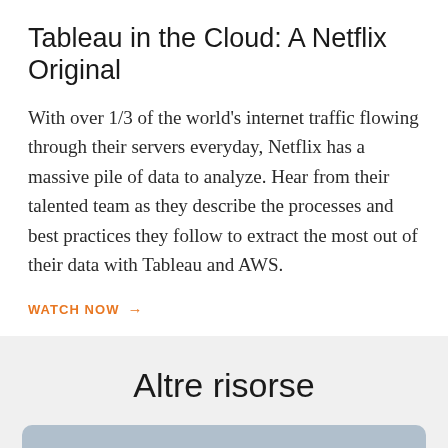Tableau in the Cloud: A Netflix Original
With over 1/3 of the world's internet traffic flowing through their servers everyday, Netflix has a massive pile of data to analyze. Hear from their talented team as they describe the processes and best practices they follow to extract the most out of their data with Tableau and AWS.
WATCH NOW →
Altre risorse